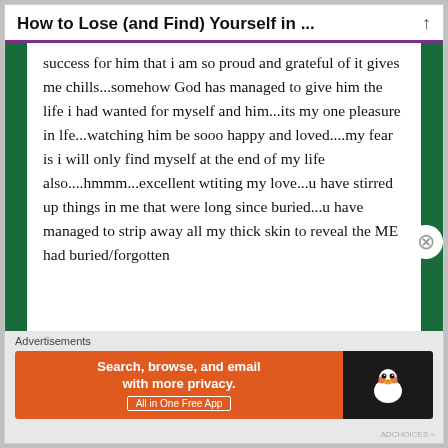How to Lose (and Find) Yourself in ...
success for him that i am so proud and grateful of it gives me chills...somehow God has managed to give him the life i had wanted for myself and him...its my one pleasure in lfe...watching him be sooo happy and loved....my fear is i will only find myself at the end of my life also....hmmm...excellent wtiting my love...u have stirred up things in me that were long since buried...u have managed to strip away all my thick skin to reveal the ME had buried/forgotten
Advertisements
[Figure (screenshot): DuckDuckGo advertisement banner: orange left panel with text 'Search, browse, and email with more privacy. All in One Free App' and dark right panel with DuckDuckGo duck logo]